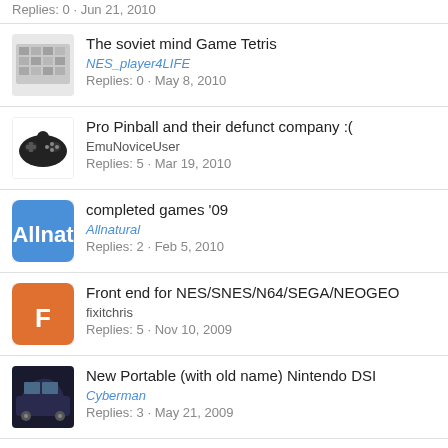Replies: 0 · Jun 21, 2010
The soviet mind Game Tetris
NES_player4LIFE
Replies: 0 · May 8, 2010
Pro Pinball and their defunct company :(
EmuNoviceUser
Replies: 5 · Mar 19, 2010
completed games '09
Allnatural
Replies: 2 · Feb 5, 2010
Front end for NES/SNES/N64/SEGA/NEOGEO
fixitchris
Replies: 5 · Nov 10, 2009
New Portable (with old name) Nintendo DSI
Cyberman
Replies: 3 · May 21, 2009